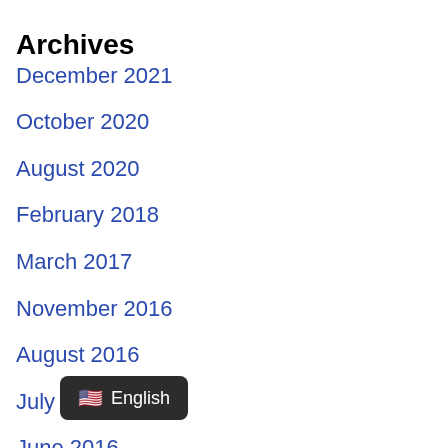Archives
December 2021
October 2020
August 2020
February 2018
March 2017
November 2016
August 2016
July 2016
June 2016
May 2016
April 2016
Mar…
🇺🇸 English